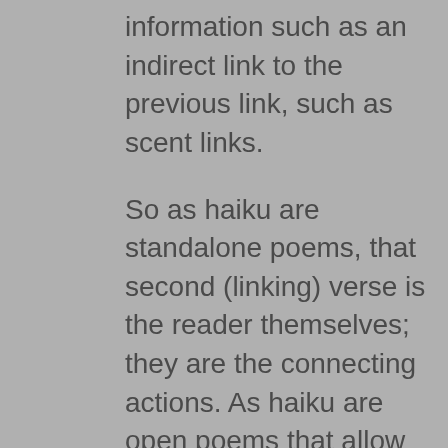information such as an indirect link to the previous link, such as scent links.
So as haiku are standalone poems, that second (linking) verse is the reader themselves; they are the connecting actions. As haiku are open poems that allow the reader to compose their own insight that's why haiku can often appear incomplete, or at least not replete with the full facts, or stuffed with description or opinion.